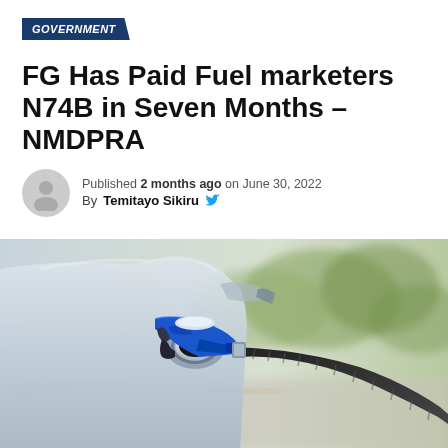GOVERNMENT
FG Has Paid Fuel marketers N74B in Seven Months – NMDPRA
Published 2 months ago on June 30, 2022
By Temitayo Sikiru
[Figure (photo): A blue fuel pump nozzle inserted into a silver car's fuel tank, photographed close-up with a blurred background showing green trees and a road.]